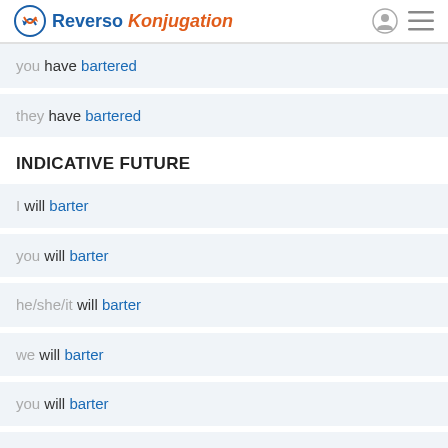Reverso Konjugation
you have bartered
they have bartered
INDICATIVE FUTURE
I will barter
you will barter
he/she/it will barter
we will barter
you will barter
they will barter
INDICATIVE FUTURE PERFECT